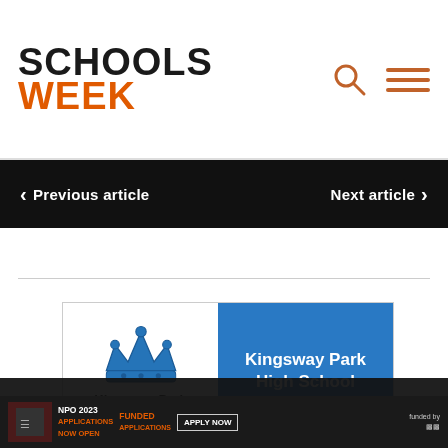SCHOOLS WEEK
Previous article | Next article
[Figure (logo): Kingsway Park High School logo: blue crown icon on white background, with school name on blue panel]
This website is using cookies
We use cookies to ensure that we give you the best experience on our website. If you continue without changing your settings, we'll assume that you are happy to receive all cookies on this website.
Accept | Learn More
NPO 2023 APPLICATIONS NOW OPEN | FUNDED | APPLY NOW | funded by